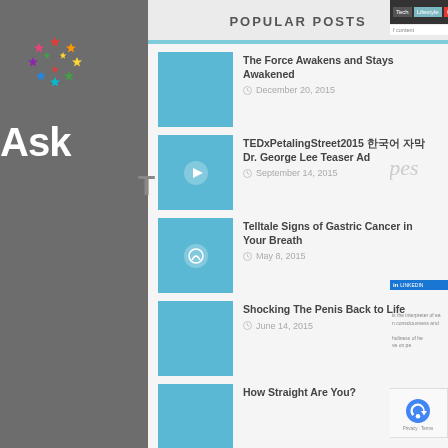POPULAR POSTS
The Force Awakens and Stays Awakened — December 20, 2015
TEDxPetalingStreet2015 한국어 자막 Dr. George Lee Teaser Ad — September 14, 2015
Telltale Signs of Gastric Cancer in Your Breath — May 8, 2015
Shocking The Penis Back to Life — June 14, 2015
How Straight Are You?